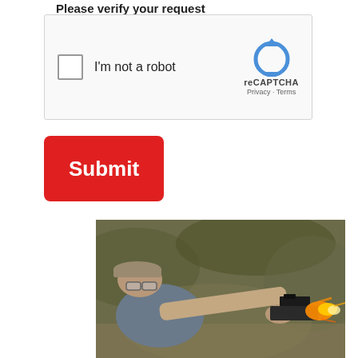Please verify your request
[Figure (screenshot): reCAPTCHA widget with checkbox labeled 'I'm not a robot' and reCAPTCHA logo with Privacy and Terms links]
Submit
[Figure (photo): A man wearing a cap and glasses firing a pistol with visible muzzle flash, outdoors with blurred background]